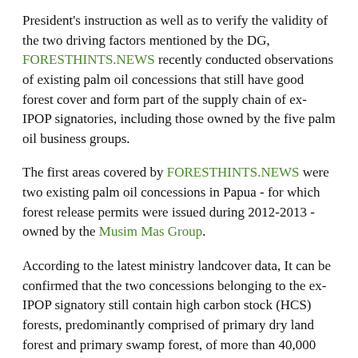President's instruction as well as to verify the validity of the two driving factors mentioned by the DG, FORESTHINTS.NEWS recently conducted observations of existing palm oil concessions that still have good forest cover and form part of the supply chain of ex-IPOP signatories, including those owned by the five palm oil business groups.
The first areas covered by FORESTHINTS.NEWS were two existing palm oil concessions in Papua - for which forest release permits were issued during 2012-2013 - owned by the Musim Mas Group.
According to the latest ministry landcover data, It can be confirmed that the two concessions belonging to the ex-IPOP signatory still contain high carbon stock (HCS) forests, predominantly comprised of primary dry land forest and primary swamp forest, of more than 40,000 hectares.